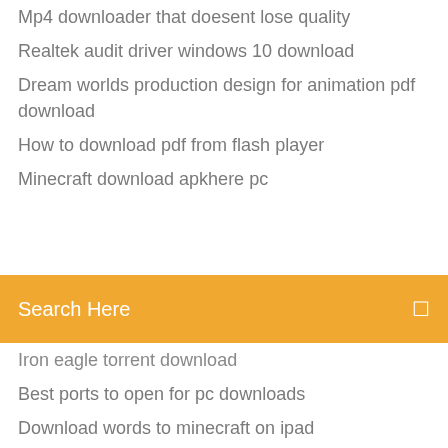Mp4 downloader that doesent lose quality
Realtek audit driver windows 10 download
Dream worlds production design for animation pdf download
How to download pdf from flash player
Minecraft download apkhere pc
[Figure (screenshot): Orange search bar with text 'Search Here' and a search icon on the right]
Iron eagle torrent download
Best ports to open for pc downloads
Download words to minecraft on ipad
Hidden agenda pc download
Adobe animate 2018 free download full version
Forza horizon 4 download android
Iphone ios image download
Download movies no torrent
Seq collection hyakken free download crack torrent
Download samsung driver for mobile phones
Fortnite download no error